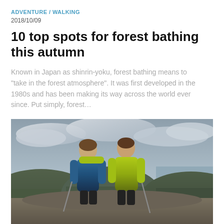ADVENTURE / WALKING
2018/10/09
10 top spots for forest bathing this autumn
Known in Japan as shinrin-yoku, forest bathing means to “take in the forest atmosphere”. It was first developed in the 1980s and has been making its way across the world ever since. Put simply, forest…
[Figure (photo): Two women hikers posing on a hilltop, one wearing a blue jacket and one wearing a yellow/lime jacket, with rolling hills and overcast sky in the background]